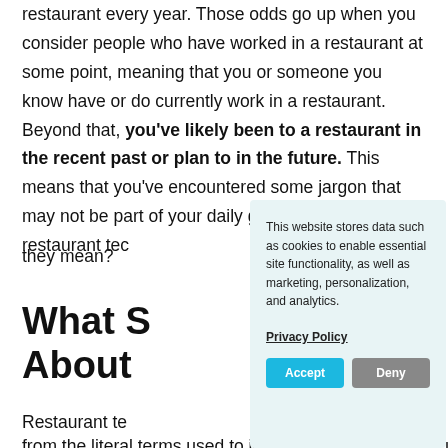restaurant every year. Those odds go up when you consider people who have worked in a restaurant at some point, meaning that you or someone you know have or do currently work in a restaurant. Beyond that, you've likely been to a restaurant in the recent past or plan to in the future. This means that you've encountered some jargon that may not be part of your daily grind. So what are the restaurant tec they mean?
What S About
Restaurant te from the literal terms used to identify the gear that we use
This website stores data such as cookies to enable essential site functionality, as well as marketing, personalization, and analytics.

Privacy Policy

Accept | Deny